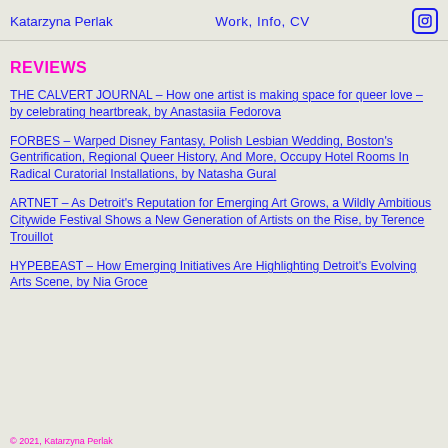Katarzyna Perlak    Work, Info, CV    [instagram icon]
REVIEWS
THE CALVERT JOURNAL – How one artist is making space for queer love – by celebrating heartbreak, by Anastasiia Fedorova
FORBES – Warped Disney Fantasy, Polish Lesbian Wedding, Boston's Gentrification, Regional Queer History, And More, Occupy Hotel Rooms In Radical Curatorial Installations, by Natasha Gural
ARTNET – As Detroit's Reputation for Emerging Art Grows, a Wildly Ambitious Citywide Festival Shows a New Generation of Artists on the Rise, by Terence Trouillot
HYPEBEAST – How Emerging Initiatives Are Highlighting Detroit's Evolving Arts Scene, by Nia Groce
© 2021, Katarzyna Perlak